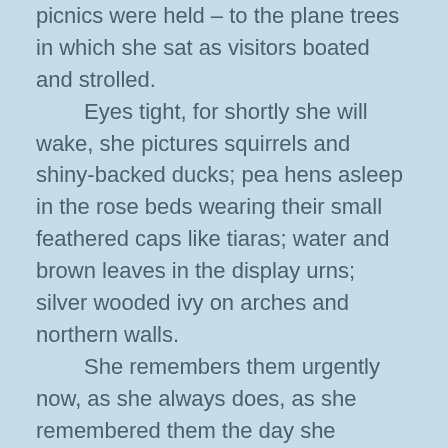picnics were held – to the plane trees in which she sat as visitors boated and strolled.

    Eyes tight, for shortly she will wake, she pictures squirrels and shiny-backed ducks; pea hens asleep in the rose beds wearing their small feathered caps like tiaras; water and brown leaves in the display urns; silver wooded ivy on arches and northern walls.

    She remembers them urgently now, as she always does, as she remembered them the day she arrived, the morning she knew she was nearing her destination. The moment when, without warning, the cage tilted and her carriers left the steppe and red sky and began their descent into the valley, sliding and calling to each other as they found foot holes and recognised tracks through the vines. As the convoy